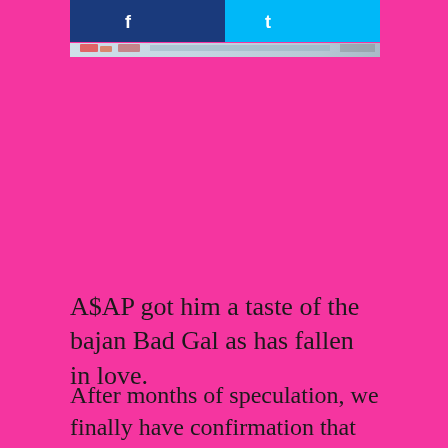[Figure (screenshot): Header bar with two-tone buttons (dark blue left, cyan right) and a multicolored stripe below, appearing to be a social media or website header]
A$AP got him a taste of the bajan Bad Gal as has fallen in love.
After months of speculation, we finally have confirmation that A$AP Rocky and Rihanna are indeed an item. The two...